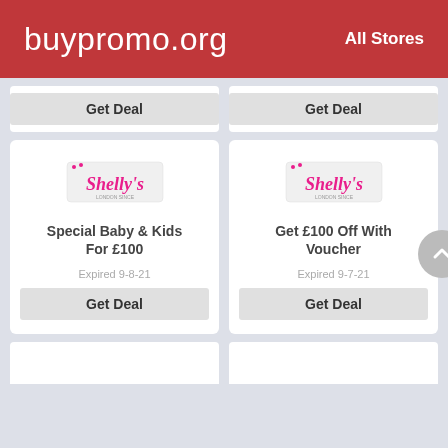buypromo.org   All Stores
Get Deal
Get Deal
[Figure (logo): Shelly's logo - pink script text on white card with dots]
Special Baby & Kids For £100
Expired 9-8-21
Get Deal
[Figure (logo): Shelly's logo - pink script text on white card with dots]
Get £100 Off With Voucher
Expired 9-7-21
Get Deal